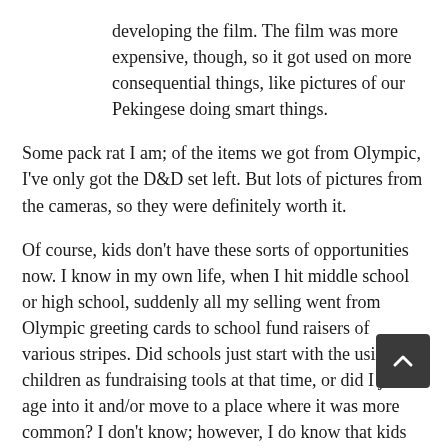developing the film. The film was more expensive, though, so it got used on more consequential things, like pictures of our Pekingese doing smart things.
Some pack rat I am; of the items we got from Olympic, I've only got the D&D set left. But lots of pictures from the cameras, so they were definitely worth it.
Of course, kids don't have these sorts of opportunities now. I know in my own life, when I hit middle school or high school, suddenly all my selling went from Olympic greeting cards to school fund raisers of various stripes. Did schools just start with the using children as fundraising tools at that time, or did I just age into it and/or move to a place where it was more common? I don't know; however, I do know that kids today never hit me up for their own good, but instead from a early age try to sell me things for their various programs school functions. I suppose there's a free enterprise versus ward/tool of the State essay in it were I so inclined. But not